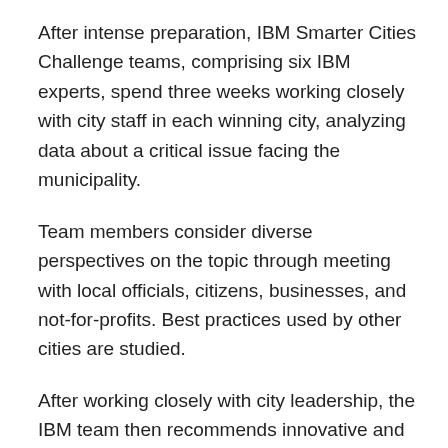After intense preparation, IBM Smarter Cities Challenge teams, comprising six IBM experts, spend three weeks working closely with city staff in each winning city, analyzing data about a critical issue facing the municipality.
Team members consider diverse perspectives on the topic through meeting with local officials, citizens, businesses, and not-for-profits. Best practices used by other cities are studied.
After working closely with city leadership, the IBM team then recommends innovative and specifically tailored ways to address the issue.